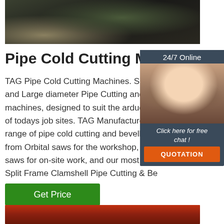[Figure (photo): Close-up photo of a dark metal pipe or cutting machine surface]
Pipe Cold Cutting Machine
TAG Pipe Cold Cutting Machines. Small, and Large diameter Pipe Cutting and Bevelling machines, designed to suit the arduous conditions of todays job sites. TAG Manufacture a complete range of pipe cold cutting and bevelling machines, from Orbital saws for the workshop, reciprocating saws for on-site work, and our most popular Split Frame Clamshell Pipe Cutting & Bevelling machines.
[Figure (photo): 24/7 Online chat widget with photo of a woman wearing a headset, with 'Click here for free chat!' text and a QUOTATION button]
[Figure (other): Get Price green button]
[Figure (photo): Partial photo at bottom showing red industrial equipment]